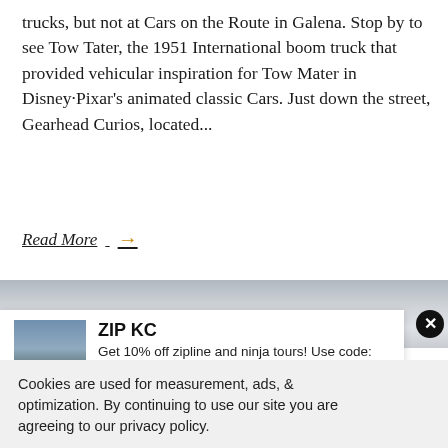trucks, but not at Cars on the Route in Galena. Stop by to see Tow Tater, the 1951 International boom truck that provided vehicular inspiration for Tow Mater in Disney·Pixar's animated classic Cars. Just down the street, Gearhead Curios, located...
Read More →
[Figure (photo): Gray sky/tent photo strip background]
[Figure (infographic): ZIP KC advertisement popup: 'Get 10% off zipline and ninja tours! Use code: KANSAS10' with building image and close button]
Cookies are used for measurement, ads, & optimization. By continuing to use our site you are agreeing to our privacy policy.
ACCEPT
[Figure (photo): Brown/earth-toned photo strip at bottom of page]